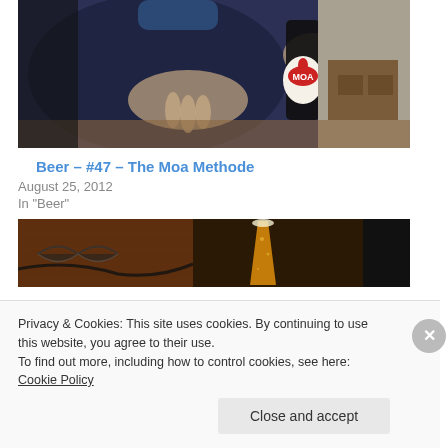[Figure (photo): Person in dark blue sweater holding a MOA beer bottle with one hand raised, sitting at a wooden table, indoor setting]
Beer – #47 – The Moa Methode
August 25, 2012
In "Beer"
[Figure (photo): Close-up of a golden beer in a glass on wooden surface, with glasses/sunglasses visible to the left]
Privacy & Cookies: This site uses cookies. By continuing to use this website, you agree to their use.
To find out more, including how to control cookies, see here: Cookie Policy